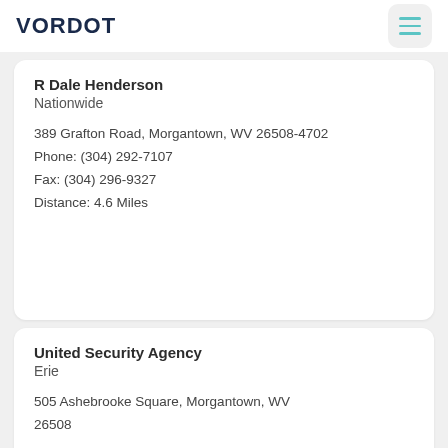VORDOT
R Dale Henderson
Nationwide

389 Grafton Road, Morgantown, WV 26508-4702
Phone: (304) 292-7107
Fax: (304) 296-9327
Distance: 4.6 Miles
United Security Agency
Erie

505 Ashebrooke Square, Morgantown, WV 26508